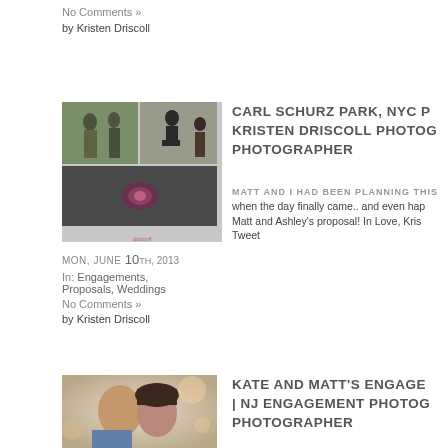No Comments »
by Kristen Driscoll
[Figure (photo): Collage of four photos showing a marriage proposal at Carl Schurz Park NYC with Driscoll watermark]
CARL SCHURZ PARK, NYC PROPOSAL | KRISTEN DRISCOLL PHOTOGRAPHY NYC PHOTOGRAPHER
MATT AND I HAD BEEN PLANNING THIS when the day finally came.. and even hap Matt and Ashley's proposal! In Love, Kris Tweet
MON, JUNE 10TH, 2013
In: Engagements, Proposals, Weddings
No Comments »
by Kristen Driscoll
[Figure (photo): Couple kissing outdoors with soft bokeh background for Kate and Matt engagement session]
KATE AND MATT'S ENGAGEMENT | NJ ENGAGEMENT PHOTOGRAPHER NYC PHOTOGRAPHER